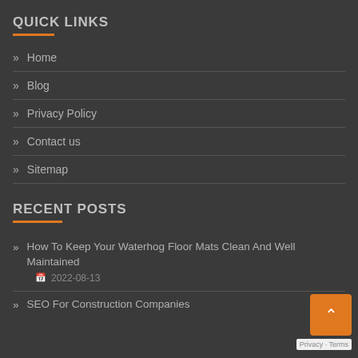QUICK LINKS
Home
Blog
Privacy Policy
Contact us
Sitemap
RECENT POSTS
How To Keep Your Waterhog Floor Mats Clean And Well Maintained
2022-08-13
SEO For Construction Companies